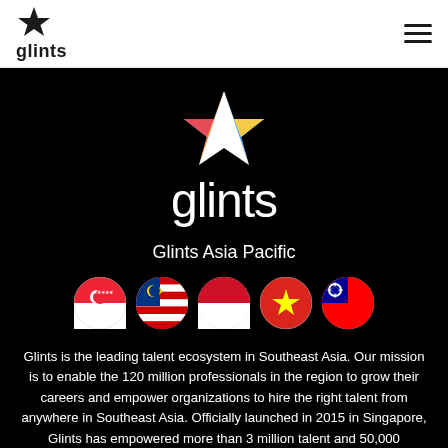glints
[Figure (logo): Glints colorful star logo large on dark background with text 'glints' below]
Glints Asia Pacific
[Figure (illustration): Five circular country flag icons: Singapore, Malaysia, Indonesia, Vietnam, Taiwan]
Glints is the leading talent ecosystem in Southeast Asia. Our mission is to enable the 120 million professionals in the region to grow their careers and empower organizations to hire the right talent from anywhere in Southeast Asia. Officially launched in 2015 in Singapore, Glints has empowered more than 3 million talent and 50,000 organizations to realize their human potential. Today, we stand at the forefront of human capital empowerment as the fastest-growing startup in the career